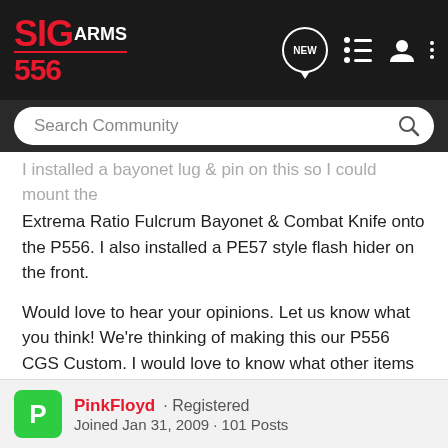SIGARMS 556 [header with navigation icons]
Search Community
I installed a bayonet lug & pin on this so I could mount the Extrema Ratio Fulcrum Bayonet & Combat Knife onto the P556. I also installed a PE57 style flash hider on the front.
Would love to hear your opinions. Let us know what you think! We're thinking of making this our P556 CGS Custom. I would love to know what other items you'd like to see attached to it.
www.cogunsales.com
PinkFloyd · Registered
Joined Jan 31, 2009 · 101 Posts